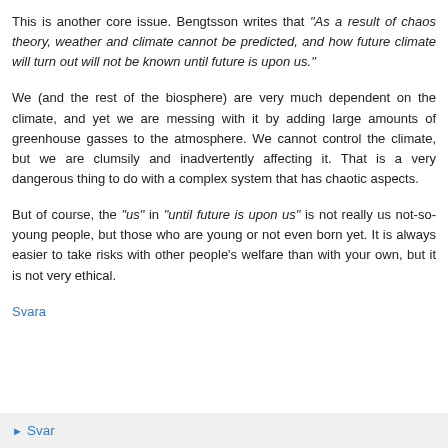This is another core issue. Bengtsson writes that "As a result of chaos theory, weather and climate cannot be predicted, and how future climate will turn out will not be known until future is upon us."
We (and the rest of the biosphere) are very much dependent on the climate, and yet we are messing with it by adding large amounts of greenhouse gasses to the atmosphere. We cannot control the climate, but we are clumsily and inadvertently affecting it. That is a very dangerous thing to do with a complex system that has chaotic aspects.
But of course, the "us" in "until future is upon us" is not really us not-so-young people, but those who are young or not even born yet. It is always easier to take risks with other people's welfare than with your own, but it is not very ethical.
Svara
▸ Svar